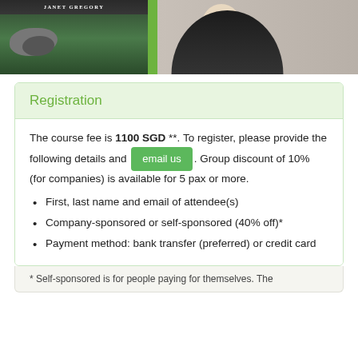[Figure (photo): Top portion of a book cover and a person's photo — book cover shows 'Janet Gregory' text with a nature/rock background and green stripe; right side shows a woman in dark jacket]
Registration
The course fee is 1100 SGD **. To register, please provide the following details and email us. Group discount of 10% (for companies) is available for 5 pax or more.
First, last name and email of attendee(s)
Company-sponsored or self-sponsored (40% off)*
Payment method: bank transfer (preferred) or credit card
* Self-sponsored is for people paying for themselves. The